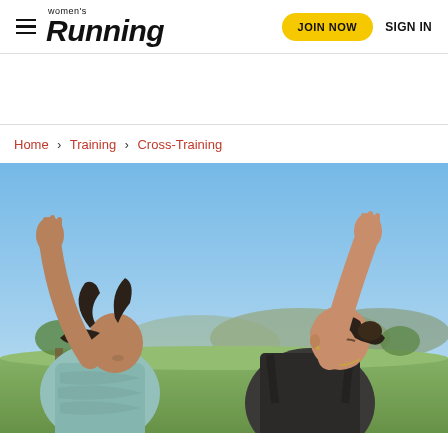women's Running — JOIN NOW  SIGN IN
Home › Training › Cross-Training
[Figure (photo): Two women doing yoga or stretching outdoors with arms raised, one wearing a teal athletic top and one wearing a black sports bra, against a blue sky background with mountains in the distance]